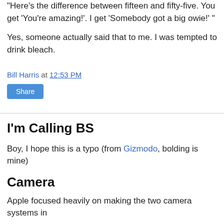"Here's the difference between fifteen and fifty-five. You get 'You're amazing!'. I get 'Somebody got a big owie!' "
Yes, someone actually said that to me. I was tempted to drink bleach.
Bill Harris at 12:53 PM
Share
I'm Calling BS
Boy, I hope this is a typo (from Gizmodo, bolding is mine)
Camera
Apple focused heavily on making the two camera systems in